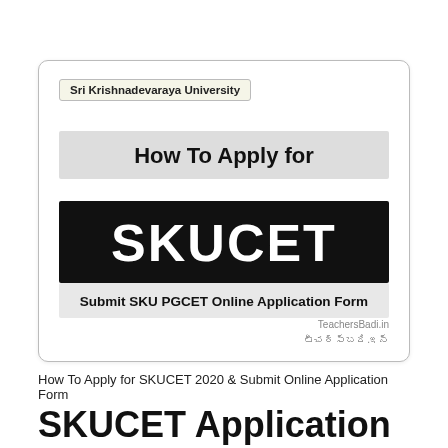[Figure (infographic): Infographic card with rounded border showing Sri Krishnadevaraya University label, 'How To Apply for' banner, 'SKUCET' in large white text on black background, 'Submit SKU PGCET Online Application Form' subtitle, and TeachersBadi.in watermark]
How To Apply for SKUCET 2020 & Submit Online Application Form
SKUCET Application